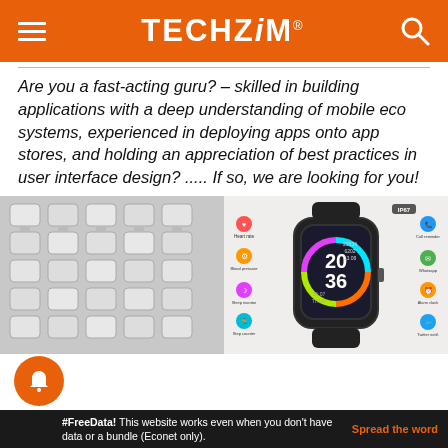TECHZiM
Are you a fast-acting guru? – skilled in building applications with a deep understanding of mobile eco systems, experienced in deploying apps onto app stores, and holding an appreciation of best practices in user interface design? ..... If so, we are looking for you!
[Figure (photo): Photo of multiple USB flash drives laid out in rows on a white surface]
[Figure (photo): Product image of a Y68 smartwatch showing heart rate, blood pressure, sleep monitor, step counter, camera, and location features alongside icons for call reminder, Whatsapp, alarm clock, Twitter notification, WhatsApp notifications, and Facebook]
#FreeData! This website works even when you don't have data or a bundle (Econet only). Spread the word